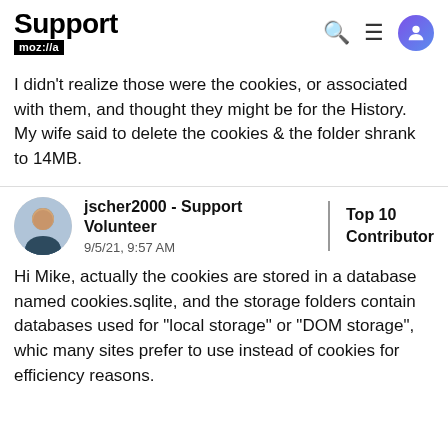Support mozilla | search | menu | user icon
I didn't realize those were the cookies, or associated with them, and thought they might be for the History. My wife said to delete the cookies & the folder shrank to 14MB.
jscher2000 - Support Volunteer
9/5/21, 9:57 AM
Top 10 Contributor
Hi Mike, actually the cookies are stored in a database named cookies.sqlite, and the storage folders contain databases used for "local storage" or "DOM storage", which many sites prefer to use instead of cookies for efficiency reasons.